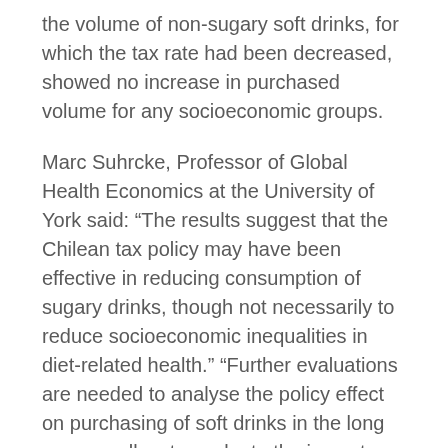the volume of non-sugary soft drinks, for which the tax rate had been decreased, showed no increase in purchased volume for any socioeconomic groups.
Marc Suhrcke, Professor of Global Health Economics at the University of York said: “The results suggest that the Chilean tax policy may have been effective in reducing consumption of sugary drinks, though not necessarily to reduce socioeconomic inequalities in diet-related health.” “Further evaluations are needed to analyse the policy effect on purchasing of soft drinks in the long run as well as to evaluate the impact on health outcomes.”
Professor Cuadrado from the University of Chile said: “Our results suggest an overall reduction of sugar consumption after the implementation of the tax in Chile. From a public health perspective, even a small